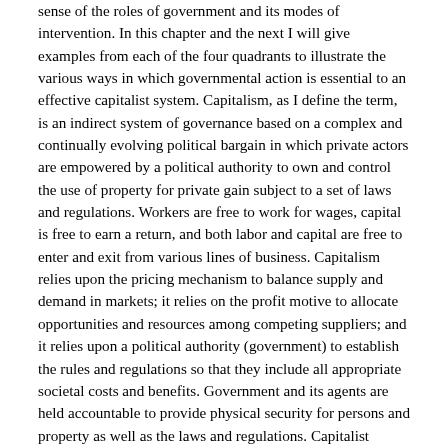sense of the roles of government and its modes of intervention. In this chapter and the next I will give examples from each of the four quadrants to illustrate the various ways in which governmental action is essential to an effective capitalist system. Capitalism, as I define the term, is an indirect system of governance based on a complex and continually evolving political bargain in which private actors are empowered by a political authority to own and control the use of property for private gain subject to a set of laws and regulations. Workers are free to work for wages, capital is free to earn a return, and both labor and capital are free to enter and exit from various lines of business. Capitalism relies upon the pricing mechanism to balance supply and demand in markets; it relies on the profit motive to allocate opportunities and resources among competing suppliers; and it relies upon a political authority (government) to establish the rules and regulations so that they include all appropriate societal costs and benefits. Government and its agents are held accountable to provide physical security for persons and property as well as the laws and regulations. Capitalist development is built from investment in new technologies that permit increased productivity, where a variety of initiatives are selected through a Darwinian process that favors productive uses of those resources, and